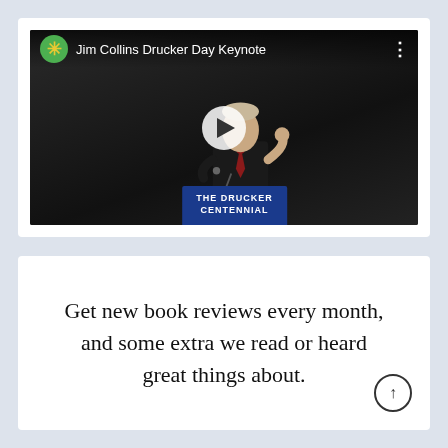[Figure (screenshot): YouTube video thumbnail showing Jim Collins Drucker Day Keynote. A man in a dark suit with a red tie speaks at a podium labeled 'THE DRUCKER CENTENNIAL'. A green asterisk icon and white text title bar appear at the top, with a play button in the center.]
Get new book reviews every month, and some extra we read or heard great things about.